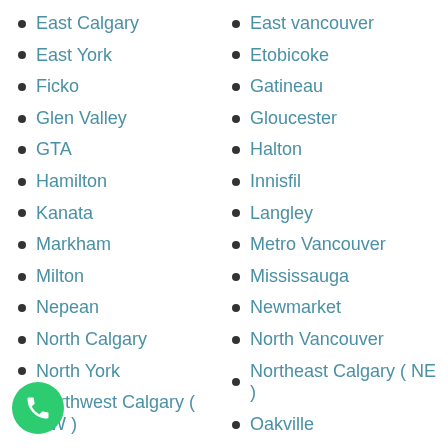East Calgary
East vancouver
East York
Etobicoke
Ficko
Gatineau
Glen Valley
Gloucester
GTA
Halton
Hamilton
Innisfil
Kanata
Langley
Markham
Metro Vancouver
Milton
Mississauga
Nepean
Newmarket
North Calgary
North Vancouver
North York
Northeast Calgary ( NE )
Northwest Calgary ( NW )
Oakville
Orangeville
Oshawa